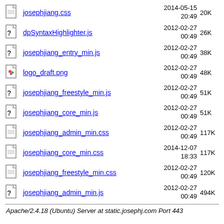josephjiang.css  2014-05-15 20:49  20K
dpSyntaxHighlighter.js  2012-02-27 00:49  26K
josephjiang_entry_min.js  2012-02-27 00:49  38K
logo_draft.png  2012-02-27 00:49  48K
josephjiang_freestyle_min.js  2012-02-27 00:49  51K
josephjiang_core_min.js  2012-02-27 00:49  51K
josephjiang_admin_min.css  2012-02-27 00:49  117K
josephjiang_core_min.css  2014-12-07 18:33  117K
josephjiang_freestyle_min.css  2012-02-27 00:49  120K
josephjiang_admin_min.js  2012-02-27 00:49  494K
Apache/2.4.18 (Ubuntu) Server at static.josephj.com Port 443